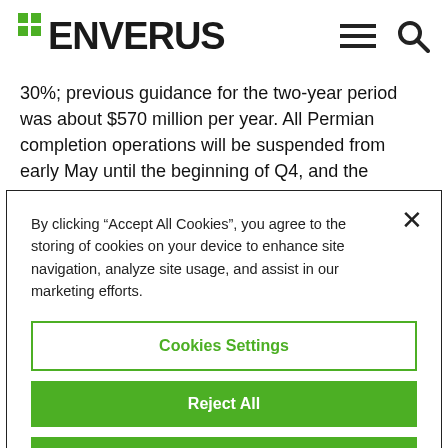ENVERUS
30%; previous guidance for the two-year period was about $570 million per year. All Permian completion operations will be suspended from early May until the beginning of Q4, and the intermediate drilling rig operating in the play will be released during March. The company's Williston
By clicking "Accept All Cookies", you agree to the storing of cookies on your device to enhance site navigation, analyze site usage, and assist in our marketing efforts.
Cookies Settings
Reject All
Accept All Cookies